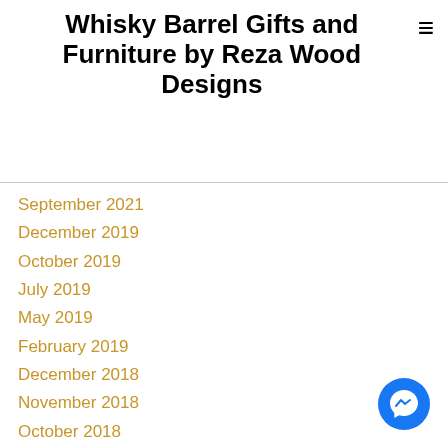Whisky Barrel Gifts and Furniture by Reza Wood Designs
September 2021
December 2019
October 2019
July 2019
May 2019
February 2019
December 2018
November 2018
October 2018
August 2018
July 2018
June 2018
May 2018
March 2018
[Figure (illustration): Facebook Messenger chat button (blue circle with lightning bolt icon)]